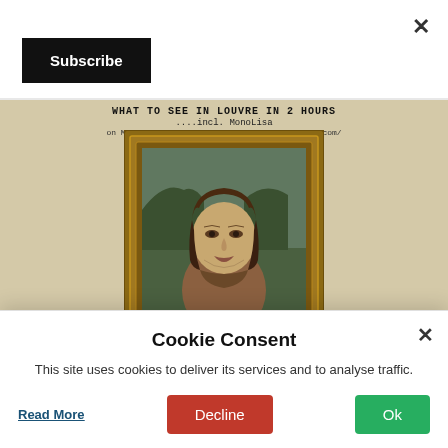×
Subscribe
[Figure (photo): Blog post image showing the Mona Lisa painting in an ornate gold frame with text overlay reading '....incl. MonoLisa on My Travelogue https://travel.biheshavali.com/']
Cookie Consent
This site uses cookies to deliver its services and to analyse traffic.
Read More
Decline
Ok